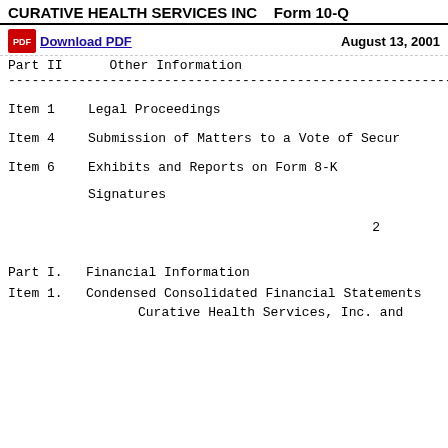CURATIVE HEALTH SERVICES INC   Form 10-Q
Download PDF    August 13, 2001
Part II      Other Information
Item 1      Legal Proceedings
Item 4      Submission of Matters to a Vote of Secur
Item 6      Exhibits and Reports on Form 8-K
Signatures
2
Part I.  Financial Information
Item 1.  Condensed Consolidated Financial Statements
Curative Health Services, Inc. and